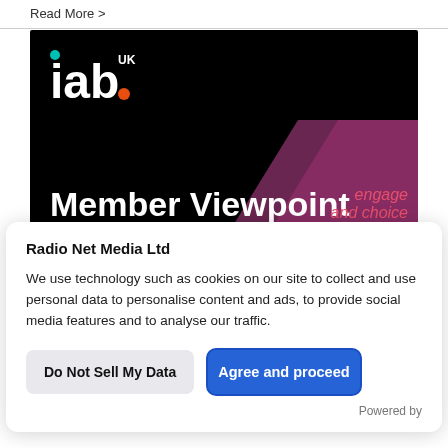Read More >
[Figure (logo): IAB UK Member Viewpoint banner on black background with purple diagonal shape and text overlay reading 'engage' and 'choice']
Radio Net Media Ltd
We use technology such as cookies on our site to collect and use personal data to personalise content and ads, to provide social media features and to analyse our traffic.
Do Not Sell My Data
Agree and proceed
Powered by